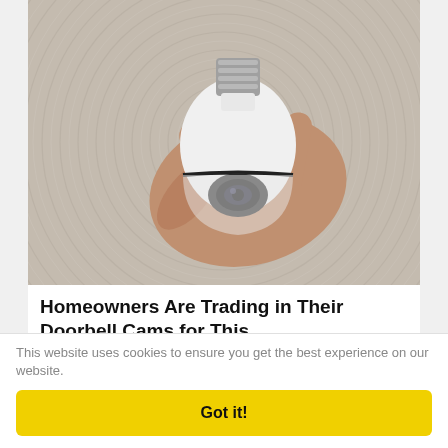[Figure (photo): A human hand holding a white light-bulb shaped security camera with a camera lens at the bottom, photographed against a woven circular texture background (grey/beige tones).]
Homeowners Are Trading in Their Doorbell Cams for This.
Keilini.com
This website uses cookies to ensure you get the best experience on our website.
Got it!